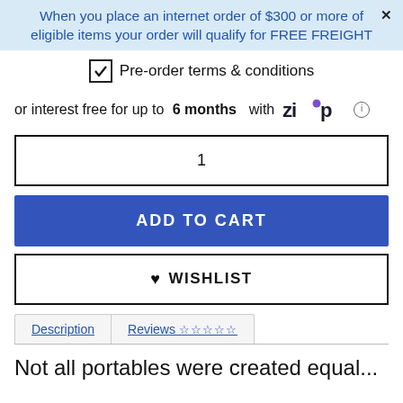When you place an internet order of $300 or more of eligible items your order will qualify for FREE FREIGHT
✓ Pre-order terms & conditions
or interest free for up to 6 months with Zip
1
ADD TO CART
♥ WISHLIST
Description | Reviews ☆☆☆☆☆
Not all portables were created equal...